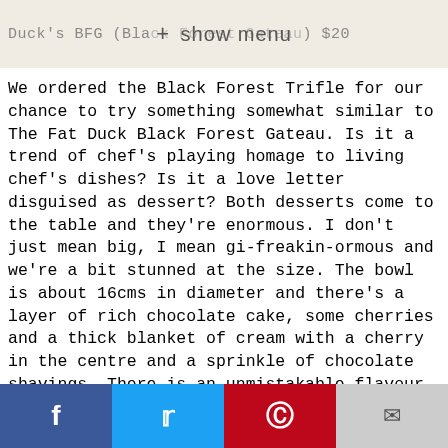Duck's BFG (Black Forest Gateau) $20 + show menu
We ordered the Black Forest Trifle for our chance to try something somewhat similar to The Fat Duck Black Forest Gateau. Is it a trend of chef's playing homage to living chef's dishes? Is it a love letter disguised as dessert? Both desserts come to the table and they're enormous. I don't just mean big, I mean gi-freakin-ormous and we're a bit stunned at the size. The bowl is about 16cms in diameter and there's a layer of rich chocolate cake, some cherries and a thick blanket of cream with a cherry in the centre and a sprinkle of chocolate shavings. There is an unmistakable flavour of kirsch but both
f  t  p  email